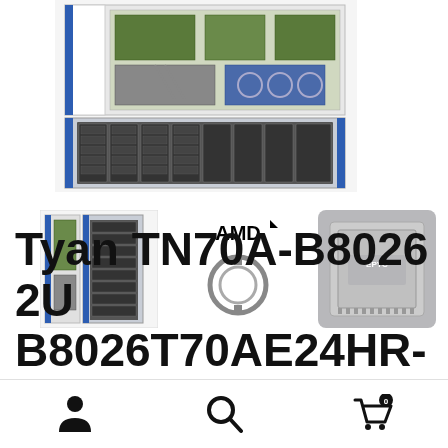[Figure (photo): Main product photo of Tyan TN70A-B8026 2U server — top view showing open chassis with internal components and front showing drive bays]
[Figure (photo): Thumbnail of server front/side view]
[Figure (logo): AMD logo with circular connector icon]
[Figure (photo): AMD EPYC processor chip thumbnail]
Tyan TN70A-B8026 2U B8026T70AE24HR-
[Figure (infographic): Bottom navigation bar with user account icon, search icon, and shopping cart icon with badge showing 0]